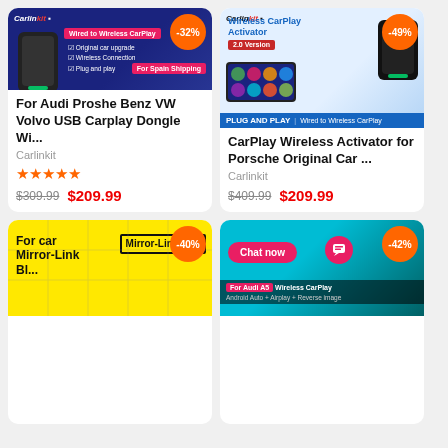[Figure (photo): Product image: Carlinkit USB Wired to Wireless CarPlay Dongle for Audi Porsche Benz VW Volvo, dark blue background, -32% discount badge]
For Audi Proshe Benz VW Volvo USB Carplay Dongle Wi...
Carlinkit
★★★★★
$309.99  $209.99
[Figure (photo): Product image: Carlinkit Wireless CarPlay Activator 2.0 Version for Porsche Original Car, light blue background, -49% discount badge]
CarPlay Wireless Activator for Porsche Original Car ...
Carlinkit
$409.99  $209.99
[Figure (photo): Product image: Mirror-Link Box for car, yellow background, -40% discount badge]
[Figure (screenshot): Chat now button overlay, -42% discount badge, For Audi A5 Wireless CarPlay, Android Auto + Airplay + Reverse image]